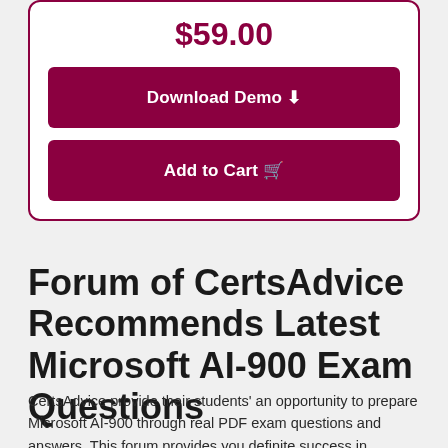$59.00
Download Demo
Add to Cart
Forum of CertsAdvice Recommends Latest Microsoft AI-900 Exam Questions
CertsAdvice provide their students' an opportunity to prepare Microsoft AI-900 through real PDF exam questions and answers. This forum provides you definite success in Microsoft AI-900 exam